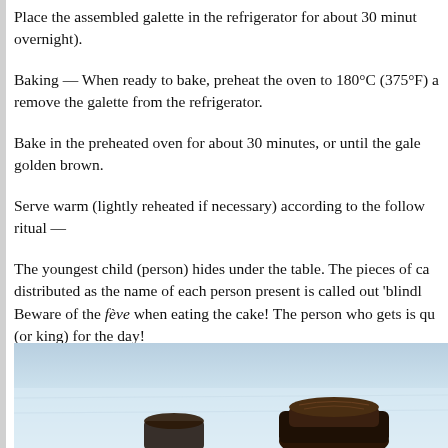Place the assembled galette in the refrigerator for about 30 minutes (or overnight).
Baking — When ready to bake, preheat the oven to 180°C (375°F) a remove the galette from the refrigerator.
Bake in the preheated oven for about 30 minutes, or until the gale golden brown.
Serve warm (lightly reheated if necessary) according to the follow ritual —
The youngest child (person) hides under the table. The pieces of ca distributed as the name of each person present is called out 'blindl Beware of the fève when eating the cake! The person who gets is qu (or king) for the day!
[Figure (photo): Photo of a galette des rois or similar pastry on a light blue/white surface, partially visible at the bottom of the page.]